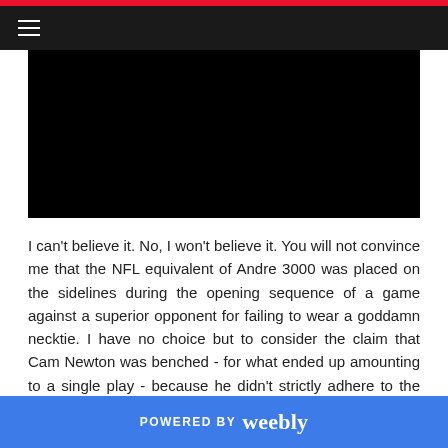Navigation bar with hamburger menu
[Figure (other): Black video embed block]
I can't believe it. No, I won't believe it. You will not convince me that the NFL equivalent of Andre 3000 was placed on the sidelines during the opening sequence of a game against a superior opponent for failing to wear a goddamn necktie. I have no choice but to consider the claim that Cam Newton was benched - for what ended up amounting to a single play - because he didn't strictly adhere to the dress code the worst lie ever told by an NFL head coach.
POWERED BY weebly